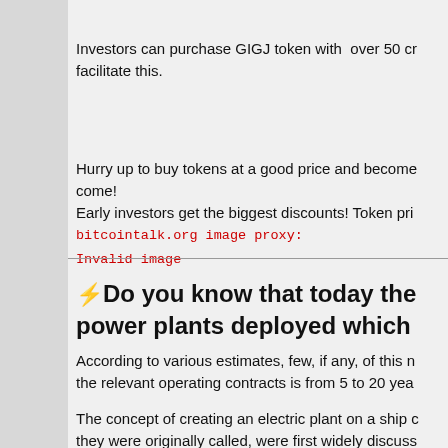Investors can purchase GIGJ token with over 50 cr facilitate this.
Hurry up to buy tokens at a good price and become come!
Early investors get the biggest discounts! Token pri
[Figure (other): bitcointalk.org image proxy error message: 'bitcointalk.org image proxy: Invalid image' displayed in red monospace text]
⚡Do you know that today the power plants deployed which
According to various estimates, few, if any, of this n the relevant operating contracts is from 5 to 20 yea
The concept of creating an electric plant on a ship c they were originally called, were first widely discuss able to use diesel fuel, coal, natural gas and even m most common source has always been natural gas.